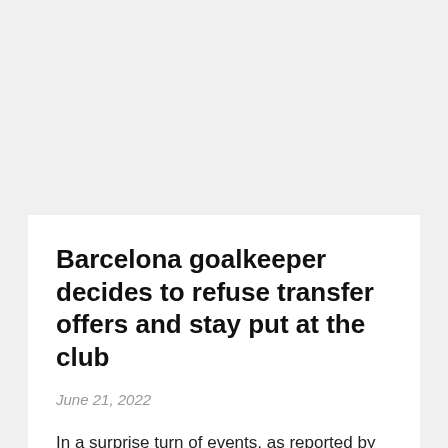Barcelona goalkeeper decides to refuse transfer offers and stay put at the club
June 21, 2022
In a surprise turn of events, as reported by SPORT, Barcelona goalkeeper Neto has decided against leaving the club and is ready to reject all